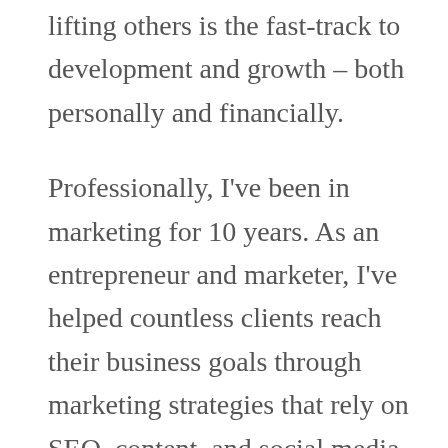lifting others is the fast-track to development and growth – both personally and financially.
Professionally, I've been in marketing for 10 years. As an entrepreneur and marketer, I've helped countless clients reach their business goals through marketing strategies that rely on SEO, content, and social media development.
My day job is more than a day job. It's my